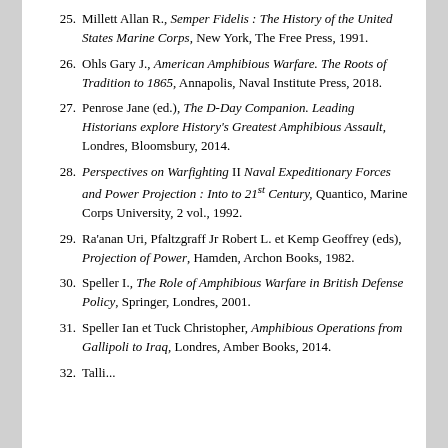25. Millett Allan R., Semper Fidelis : The History of the United States Marine Corps, New York, The Free Press, 1991.
26. Ohls Gary J., American Amphibious Warfare. The Roots of Tradition to 1865, Annapolis, Naval Institute Press, 2018.
27. Penrose Jane (ed.), The D-Day Companion. Leading Historians explore History's Greatest Amphibious Assault, Londres, Bloomsbury, 2014.
28. Perspectives on Warfighting II Naval Expeditionary Forces and Power Projection : Into to 21st Century, Quantico, Marine Corps University, 2 vol., 1992.
29. Ra'anan Uri, Pfaltzgraff Jr Robert L. et Kemp Geoffrey (eds), Projection of Power, Hamden, Archon Books, 1982.
30. Speller I., The Role of Amphibious Warfare in British Defense Policy, Springer, Londres, 2001.
31. Speller Ian et Tuck Christopher, Amphibious Operations from Gallipoli to Iraq, Londres, Amber Books, 2014.
32. Talli... [partial]